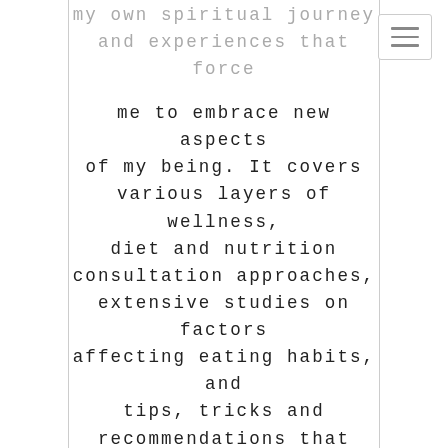my own spiritual journey and experiences that force
me to embrace new aspects of my being. It covers various layers of wellness, diet and nutrition consultation approaches, extensive studies on factors affecting eating habits, and tips, tricks and recommendations that support your wellbeing. In this blog, you can have a glimpse of the thoughts I share in my book.